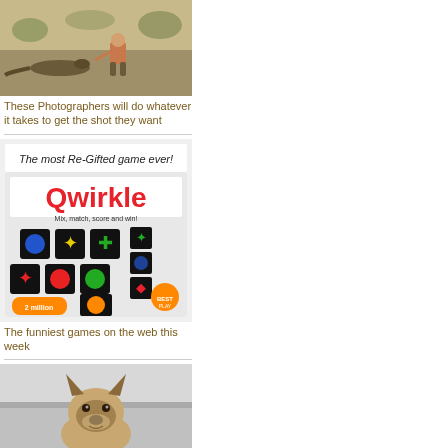[Figure (photo): Child crouching close to a large lizard or reptile on sandy ground outdoors]
These Photographers will do whatever it takes to get the shot they want
[Figure (photo): Qwirkle board game box showing colorful tile pieces - 'The most Re-Gifted game ever!']
The funniest games on the web this week
[Figure (photo): Close-up of a German Shepherd dog's face in snowy outdoor setting]